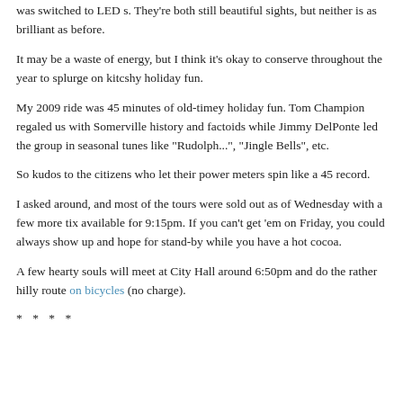was switched to LED s. They're both still beautiful sights, but neither is as brilliant as before.
It may be a waste of energy, but I think it's okay to conserve throughout the year to splurge on kitcshy holiday fun.
My 2009 ride was 45 minutes of old-timey holiday fun. Tom Champion regaled us with Somerville history and factoids while Jimmy DelPonte led the group in seasonal tunes like "Rudolph...", "Jingle Bells", etc.
So kudos to the citizens who let their power meters spin like a 45 record.
I asked around, and most of the tours were sold out as of Wednesday with a few more tix available for 9:15pm. If you can't get 'em on Friday, you could always show up and hope for stand-by while you have a hot cocoa.
A few hearty souls will meet at City Hall around 6:50pm and do the rather hilly route on bicycles (no charge).
* * * *